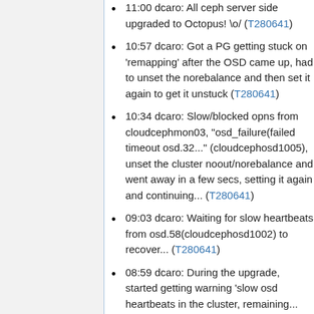11:00 dcaro: All ceph server side upgraded to Octopus! \o/ (T280641)
10:57 dcaro: Got a PG getting stuck on 'remapping' after the OSD came up, had to unset the norebalance and then set it again to get it unstuck (T280641)
10:34 dcaro: Slow/blocked opns from cloudcephmon03, "osd_failure(failed timeout osd.32..." (cloudcephosd1005), unset the cluster noout/norebalance and went away in a few secs, setting it again and continuing... (T280641)
09:03 dcaro: Waiting for slow heartbeats from osd.58(cloudcephosd1002) to recover... (T280641)
08:59 dcaro: During the upgrade, started getting warning 'slow osd heartbeats in the cluster, remaining...